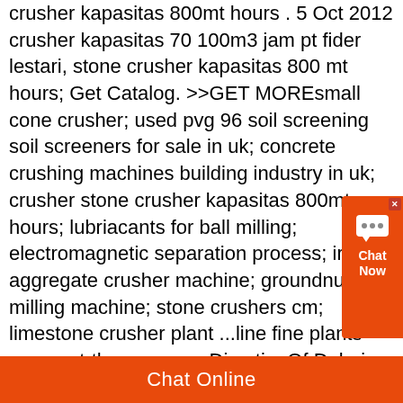crusher kapasitas 800mt hours . 5 Oct 2012 crusher kapasitas 70 100m3 jam pt fider lestari, stone crusher kapasitas 800 mt hours; Get Catalog. >>GET MOREsmall cone crusher; used pvg 96 soil screening soil screeners for sale in uk; concrete crushing machines building industry in uk; crusher stone crusher kapasitas 800mt hours; lubriacants for ball milling; electromagnetic separation process; iron aggregate crusher machine; groundnut oil milling machine; stone crushers cm; limestone crusher plant ...line fine plants - meow-at-the-moon.orgDirectiry Of Dubai Based Gold Mining Companies. Directiry Of Dubai Based Gold Mining Companies. Mining companies in uae in the united arab emirates including dubai and more company list small scale gold mining company ghana info email phone accra 23 street accra ghana minerals amp metallurgy silica gel in uae
[Figure (other): Orange chat widget button with speech bubble icon and text 'Chat Now', with an X close button in the top right corner]
Chat Online